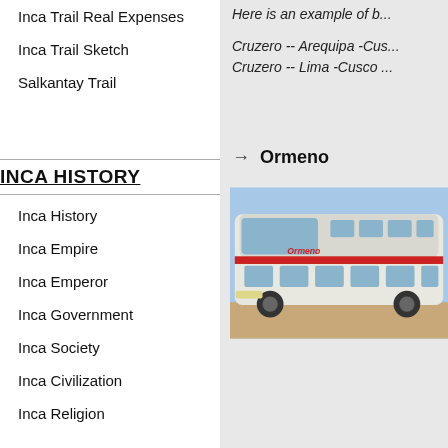Inca Trail Real Expenses
Inca Trail Sketch
Salkantay Trail
INCA HISTORY
Inca History
Inca Empire
Inca Emperor
Inca Government
Inca Society
Inca Civilization
Inca Religion
Here is an example of b...
Cruzero -- Arequipa -Cus...
Cruzero -- Lima -Cusco ...
Ormeno
[Figure (photo): A double-decker bus, white with red accents, photographed outdoors under a blue sky. The bus appears to be a long-haul coach.]